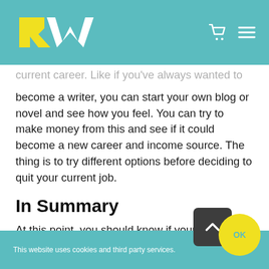RW [logo with shopping cart and menu icons]
current career. Like if you've always wanted to become a writer, you can start your own blog or novel and see how you feel. You can try to make money from this and see if it could become a new career and income source. The thing is to try different options before deciding to quit your current job.
In Summary
At this point, you should know if your career isn't for you. But maybe you are still stalling out of
This website uses cookies and third party services.